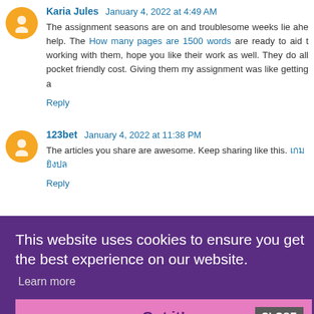Karia Jules  January 4, 2022 at 4:49 AM
The assignment seasons are on and troublesome weeks lie ahe... help. The How many pages are 1500 words are ready to aid t... working with them, hope you like their work as well. They do all... pocket friendly cost. Giving them my assignment was like getting a...
Reply
123bet  January 4, 2022 at 11:38 PM
The articles you share are awesome. Keep sharing like this.
Reply
This website uses cookies to ensure you get the best experience on our website.
Learn more
Got it!
CLOSE
[Figure (photo): Advertisement strip showing makeup/beauty images and Ulta logo with SHOP NOW button]